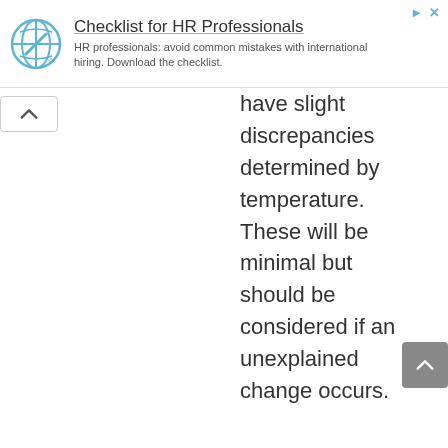[Figure (other): Advertisement banner: logo of a globe/compass icon with text 'Checklist for HR Professionals' and subtitle 'HR professionals: avoid common mistakes with international hiring. Download the checklist.']
have slight discrepancies determined by temperature. These will be minimal but should be considered if an unexplained change occurs.